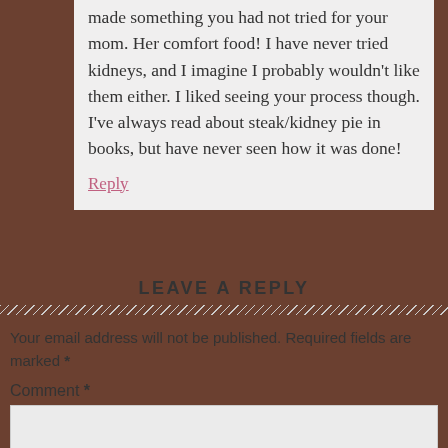made something you had not tried for your mom. Her comfort food! I have never tried kidneys, and I imagine I probably wouldn't like them either. I liked seeing your process though. I've always read about steak/kidney pie in books, but have never seen how it was done!
Reply
LEAVE A REPLY
Your email address will not be published. Required fields are marked *
Comment *